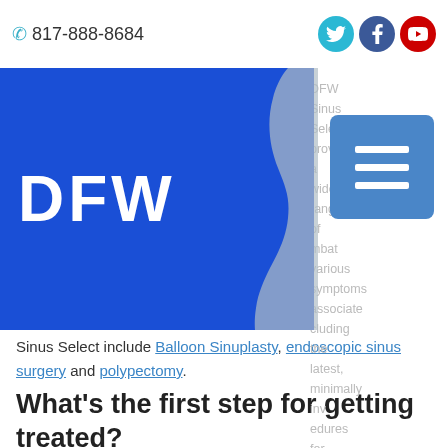817-888-8684
[Figure (logo): DFW Sinus Select logo with blue rectangle and head silhouette]
DFW Sinus Select provides a wide range of treatments to combat various symptoms associated with sinusitis, including the latest, minimally invasive procedures for recurrent sinusitis offered at DFW Sinus Select include Balloon Sinuplasty, endoscopic sinus surgery and polypectomy.
What’s the first step for getting treated?
Take the first step towards healthy breathing and relief from recurrent sinusitis. Make an appointment with DFW Sinus Select to find out what factors may be causing your chronic sinusitis and to learn what treatments can help. You can get this process started by filling out the purple schedule